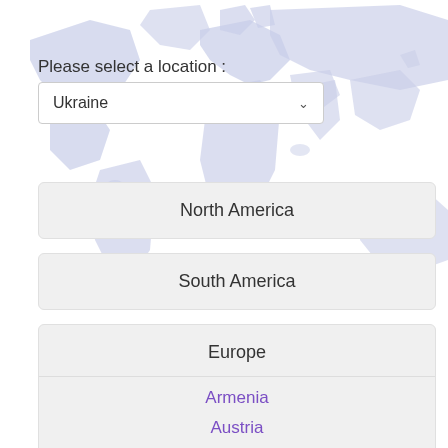[Figure (map): World map background in light blue/lavender color showing continents]
Please select a location :
[Figure (screenshot): Dropdown selector showing 'Ukraine' with chevron arrow]
North America
South America
Europe
Armenia
Austria
Azerbaijan
Belarus
Belgium
Bulgaria